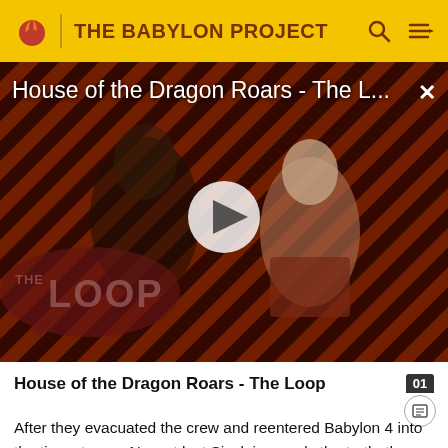THE BABYLON PROJECT
[Figure (screenshot): Video thumbnail for 'House of the Dragon Roars - The L...' showing two characters from House of the Dragon against a red and black diagonal striped background with 'THE LOOP' logo overlay and a play button in the center.]
House of the Dragon Roars - The Loop
After they evacuated the crew and reentered Babylon 4 into the time stream. Now at last Sinclair reveals the truth: the letter was from Valen but in his handwriting.